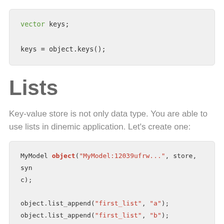vector keys;

keys = object.keys();
Lists
Key-value store is not only data type. You are able to use lists in dinemic application. Let's create one:
MyModel object("MyModel:12039ufrw...", store, sync);

object.list_append("first_list", "a");
object.list_append("first_list", "b");